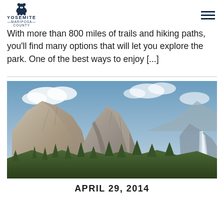Yosemite Mariposa County
With more than 800 miles of trails and hiking paths, you'll find many options that will let you explore the park. One of the best ways to enjoy [...]
[Figure (photo): Photograph of Yosemite National Park showing granite peaks including Half Dome and Liberty Cap with a waterfall visible on the right side, blue sky with clouds, and green forest at the base.]
APRIL 29, 2014